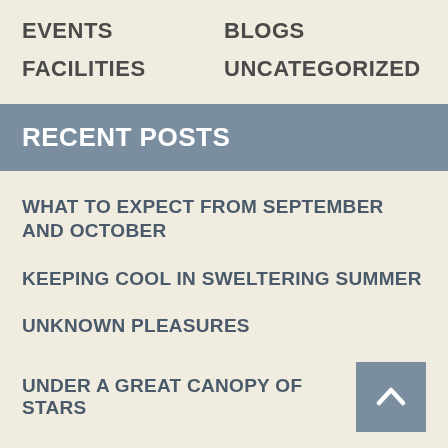EVENTS
BLOGS
FACILITIES
UNCATEGORIZED
RECENT POSTS
WHAT TO EXPECT FROM SEPTEMBER AND OCTOBER
KEEPING COOL IN SWELTERING SUMMER
UNKNOWN PLEASURES
UNDER A GREAT CANOPY OF STARS